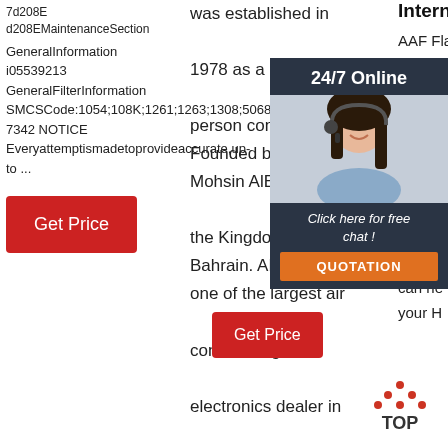7d208E d208EMaintenanceSection GeneralInformation i05539213 GeneralFilterInformation SMCSCode:1054;108K;1261;1263;1308;5068;7342 NOTICE Everyattemptismadetoprovideaccurate,up-to ...
[Figure (illustration): Get Price red button]
was established in 1978 as a single person company Founded by Mr. Mohsin AlBunni in the Kingdom of Bahrain. AL-SALAM one of the largest air conditioning & electronics dealer in Bahrain as a specialized company in air conditioning, home appliances, electronics, mobiles, satellites, distribution and piping of cooking gas to domestic homes and
International
AAF Flanders is the leading provider of air filtration solutions that he create quality manag system to find can he your H
[Figure (illustration): 24/7 Online customer support chat widget with woman photo, Click here for free chat, QUOTATION button]
[Figure (illustration): Get Price red button (right column)]
[Figure (illustration): TOP arrow icon with text TOP]